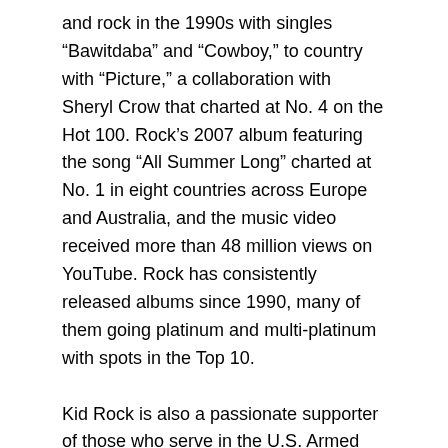and rock in the 1990s with singles “Bawitdaba” and “Cowboy,” to country with “Picture,” a collaboration with Sheryl Crow that charted at No. 4 on the Hot 100. Rock’s 2007 album featuring the song “All Summer Long” charted at No. 1 in eight countries across Europe and Australia, and the music video received more than 48 million views on YouTube. Rock has consistently released albums since 1990, many of them going platinum and multi-platinum with spots in the Top 10.
Kid Rock is also a passionate supporter of those who serve in the U.S. Armed Forces and a vocal advocate for his hometown of Detroit.
Parmalee’s country rock sound has its roots in the bluegrass, traditional country, southern rock and blues covers the guys grew up hearing their families play. Country fans voted the band’s debut single, “Musta Had A Good Time,” No. 1 for 4 consecutive weeks on SiriusXM’s The Highway “Hot 30 LIVE” countdown and the song became a Top 40 hit on mainstream country radio. The fun-loving party anthem has been featured in national sporting event